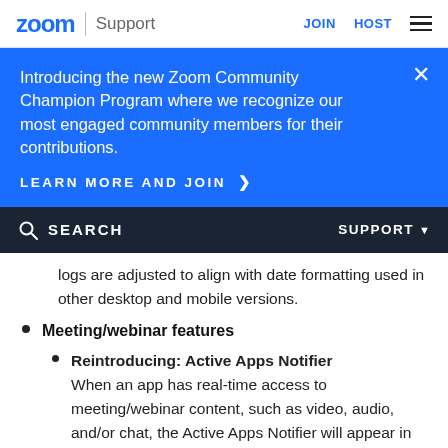zoom | Support   JOIN   HOST
Introducing the new Zoom Community Champion Program where we recognize our most engaged community members for their contributions.
LEARN MORE AND JOIN >
SEARCH   SUPPORT
logs are adjusted to align with date formatting used in other desktop and mobile versions.
Meeting/webinar features
Reintroducing: Active Apps Notifier
When an app has real-time access to meeting/webinar content, such as video, audio, and/or chat, the Active Apps Notifier will appear in the same window as the current meeting in the top-left corner next to the encryption icon. Details of which apps have